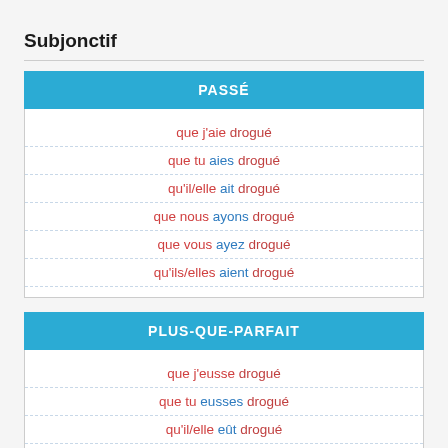Subjonctif
PASSÉ
| que j'aie drogué |
| que tu aies drogué |
| qu'il/elle ait drogué |
| que nous ayons drogué |
| que vous ayez drogué |
| qu'ils/elles aient drogué |
PLUS-QUE-PARFAIT
| que j'eusse drogué |
| que tu eusses drogué |
| qu'il/elle eût drogué |
| que nous eussions drogué |